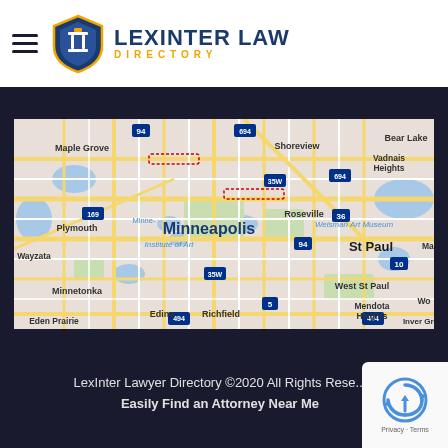[Figure (logo): Lexinter Law Directory logo with shield emblem and hamburger menu]
[Figure (map): Google Maps view of Minneapolis-St Paul metropolitan area showing surrounding suburbs including Maple Grove, Plymouth, Wayzata, Minnetonka, Edina, Richfield, Roseville, Shoreview, Bear Lake, Vadnais Heights, St Paul, Maplewood, West St Paul, Mendota Heights, Inver Grove, Eden Prairie with major highways 94, 694, 35W, 169, 36, 10, 5, 494]
LexInter Lawyer Directory ©2020 All Rights Reserved
Easily Find an Attorney Near Me